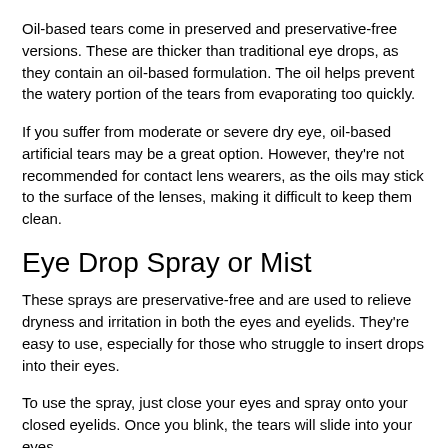Oil-based tears come in preserved and preservative-free versions. These are thicker than traditional eye drops, as they contain an oil-based formulation. The oil helps prevent the watery portion of the tears from evaporating too quickly.
If you suffer from moderate or severe dry eye, oil-based artificial tears may be a great option. However, they're not recommended for contact lens wearers, as the oils may stick to the surface of the lenses, making it difficult to keep them clean.
Eye Drop Spray or Mist
These sprays are preservative-free and are used to relieve dryness and irritation in both the eyes and eyelids. They're easy to use, especially for those who struggle to insert drops into their eyes.
To use the spray, just close your eyes and spray onto your closed eyelids. Once you blink, the tears will slide into your eyes.
Don't use the spray if you're wearing makeup, lotions, or creams